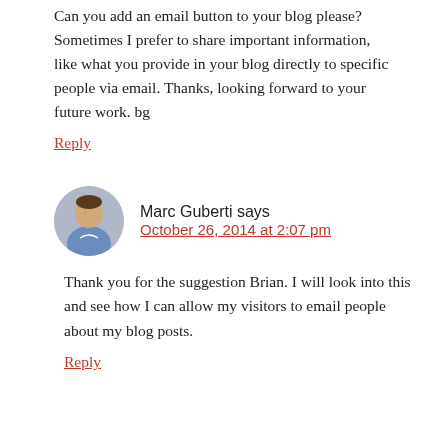Can you add an email button to your blog please? Sometimes I prefer to share important information, like what you provide in your blog directly to specific people via email. Thanks, looking forward to your future work. bg
Reply
Marc Guberti says
October 26, 2014 at 2:07 pm
Thank you for the suggestion Brian. I will look into this and see how I can allow my visitors to email people about my blog posts.
Reply